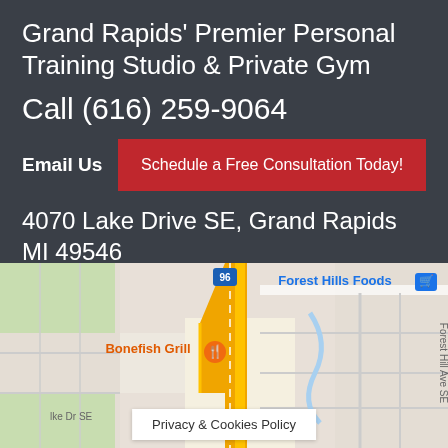Grand Rapids' Premier Personal Training Studio & Private Gym
Call (616) 259-9064
Email Us
Schedule a Free Consultation Today!
4070 Lake Drive SE, Grand Rapids MI 49546
[Figure (map): Google Maps screenshot showing area near 4070 Lake Drive SE, Grand Rapids MI 49546, with landmarks including Forest Hills Foods, Bonefish Grill, and route 96 visible. A privacy & cookies policy bar appears at the bottom.]